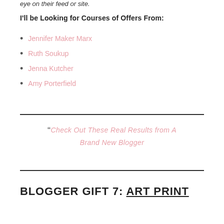eye on their feed or site.
I'll be Looking for Courses of Offers From:
Jennifer Maker Marx
Ruth Soukup
Jenna Kutcher
Amy Porterfield
“Check Out These Real Results from A Brand New Blogger
BLOGGER GIFT 7: ART PRINT